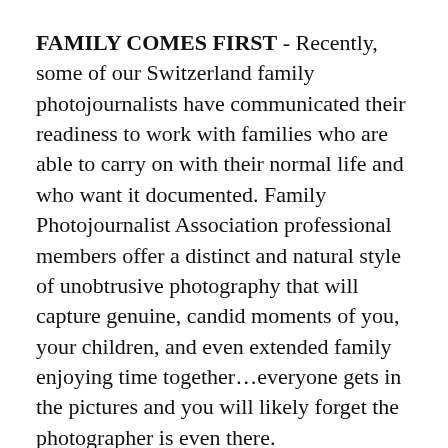FAMILY COMES FIRST - Recently, some of our Switzerland family photojournalists have communicated their readiness to work with families who are able to carry on with their normal life and who want it documented. Family Photojournalist Association professional members offer a distinct and natural style of unobtrusive photography that will capture genuine, candid moments of you, your children, and even extended family enjoying time together…everyone gets in the pictures and you will likely forget the photographer is even there.
The purpose of reportage family photography is to tell a story — your story. You will be able to feel the love that you have for one another in the images. You will see the beauty that results when you are not posed or directed by your photographer to sit in a contrived position and